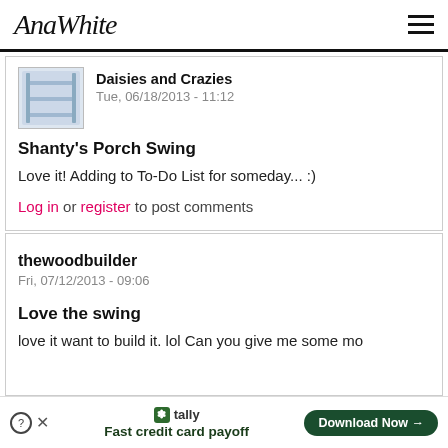AnaWhite
Daisies and Crazies
Tue, 06/18/2013 - 11:12
Shanty's Porch Swing
Love it! Adding to To-Do List for someday... :)
Log in or register to post comments
thewoodbuilder
Fri, 07/12/2013 - 09:06
Love the swing
love it want to build it. lol Can you give me some mo
Tally – Fast credit card payoff  Download Now